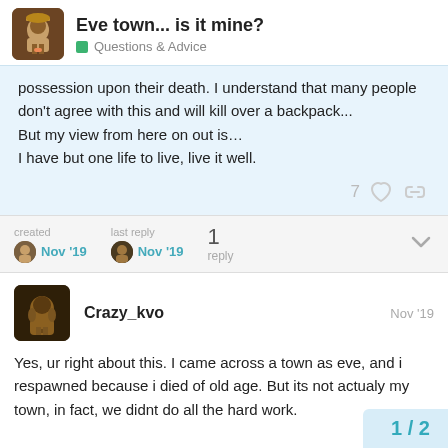Eve town... is it mine? | Questions & Advice
possession upon their death. I understand that many people don't agree with this and will kill over a backpack...
But my view from here on out is…
I have but one life to live, live it well.
7 likes
created Nov '19  |  last reply Nov '19  |  1 reply
Crazy_kvo  Nov '19
Yes, ur right about this. I came across a town as eve, and i respawned because i died of old age. But its not actualy my town, in fact, we didnt do all the hard work.
1 / 2